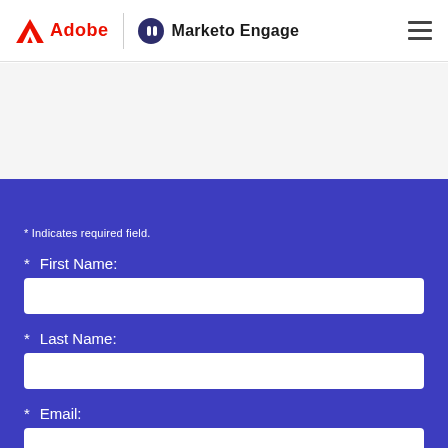[Figure (logo): Adobe logo with red triangle and 'Adobe' text, vertical divider, Marketo Engage icon and text, hamburger menu on right]
* Indicates required field.
* First Name:
* Last Name:
* Email: